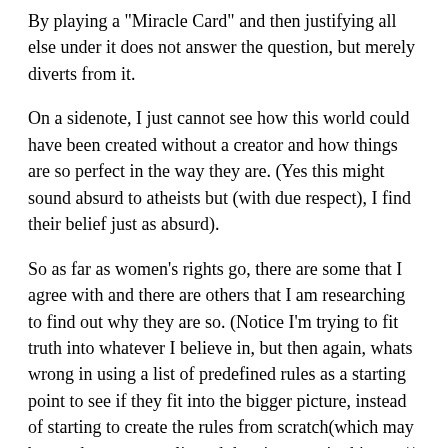By playing a "Miracle Card" and then justifying all else under it does not answer the question, but merely diverts from it.
On a sidenote, I just cannot see how this world could have been created without a creator and how things are so perfect in the way they are. (Yes this might sound absurd to atheists but (with due respect), I find their belief just as absurd).
So as far as women's rights go, there are some that I agree with and there are others that I am researching to find out why they are so. (Notice I'm trying to fit truth into whatever I believe in, but then again, whats wrong in using a list of predefined rules as a starting point to see if they fit into the bigger picture, instead of starting to create the rules from scratch(which may be much more complicated than it seems in this case))
By the way, @Jari referring to your post March 3rd, 2010 at